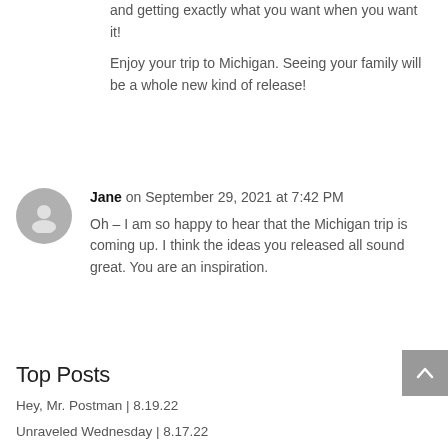and getting exactly what you want when you want it!

Enjoy your trip to Michigan. Seeing your family will be a whole new kind of release!
Jane on September 29, 2021 at 7:42 PM
Oh – I am so happy to hear that the Michigan trip is coming up. I think the ideas you released all sound great. You are an inspiration.
Top Posts
Hey, Mr. Postman | 8.19.22
Unraveled Wednesday | 8.17.22